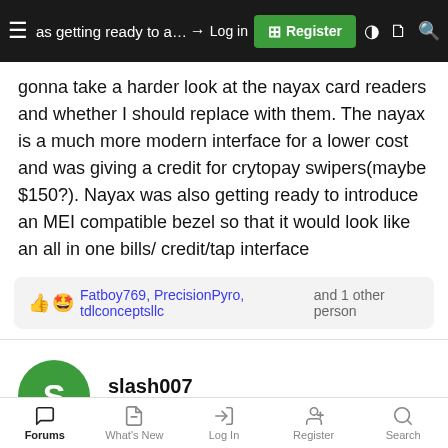as getting ready to add ap... ay but now gonna take a harder look at the nayax card readers and whether I should replace with them. [Register] [Log in]
gonna take a harder look at the nayax card readers and whether I should replace with them. The nayax is a much more modern interface for a lower cost and was giving a credit for crytopay swipers(maybe $150?). Nayax was also getting ready to introduce an MEI compatible bezel so that it would look like an all in one bills/ credit/tap interface
Fatboy769, PrecisionPyro, tdlconceptsllc and 1 other person
slash007
Well-known member
May 14, 2022    #7
Forums  What's New  Log In  Register  Search